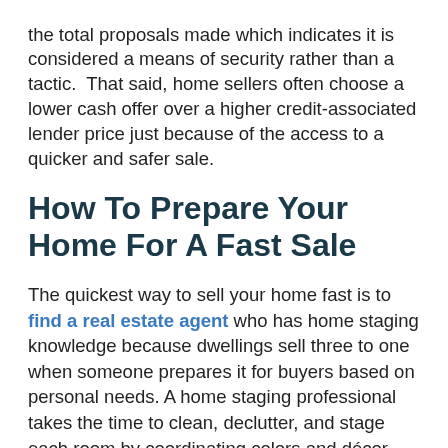the total proposals made which indicates it is considered a means of security rather than a tactic. That said, home sellers often choose a lower cash offer over a higher credit-associated lender price just because of the access to a quicker and safer sale.
How To Prepare Your Home For A Fast Sale
The quickest way to sell your home fast is to find a real estate agent who has home staging knowledge because dwellings sell three to one when someone prepares it for buyers based on personal needs. A home staging professional takes the time to clean, declutter, and stage each room by coordinating colors and décor that maximizes a room's prominent features. From a painted front door to a room's ability to retain the natural light, every single element counts when it comes to creating an aesthetically pleasing environment for home buyers.